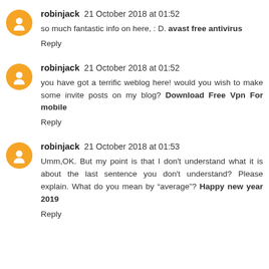robinjack 21 October 2018 at 01:52
so much fantastic info on here, : D. avast free antivirus
Reply
robinjack 21 October 2018 at 01:52
you have got a terrific weblog here! would you wish to make some invite posts on my blog? Download Free Vpn For mobile
Reply
robinjack 21 October 2018 at 01:53
Umm,OK. But my point is that I don't understand what it is about the last sentence you don't understand? Please explain. What do you mean by “average”? Happy new year 2019
Reply